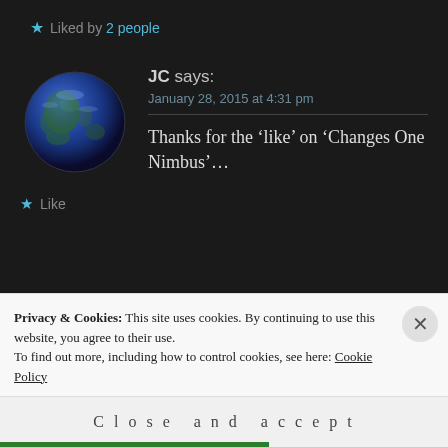Liked by 2 people
JC says:
January 28, 2015 at 4:31 pm
Thanks for the ‘like’ on ‘Changes One Nimbus’…
Like
Privacy & Cookies: This site uses cookies. By continuing to use this website, you agree to their use.
To find out more, including how to control cookies, see here: Cookie Policy
Close and accept